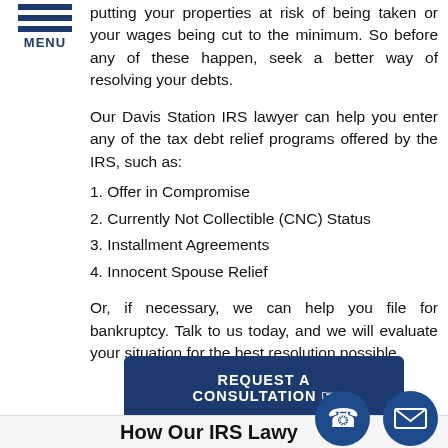[Figure (logo): Hamburger menu icon with three blue horizontal lines and MENU label below]
putting your properties at risk of being taken or your wages being cut to the minimum. So before any of these happen, seek a better way of resolving your debts.
Our Davis Station IRS lawyer can help you enter any of the tax debt relief programs offered by the IRS, such as:
1. Offer in Compromise
2. Currently Not Collectible (CNC) Status
3. Installment Agreements
4. Innocent Spouse Relief
Or, if necessary, we can help you file for bankruptcy. Talk to us today, and we will evaluate your situation for the best resolution possible.
[Figure (other): REQUEST A CONSULTATION button in dark navy blue]
How Our IRS Lawyers
[Figure (other): Phone icon circle and email icon circle overlapping bottom right]